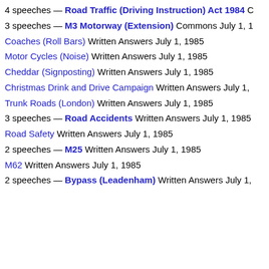4 speeches — Road Traffic (Driving Instruction) Act 1984 C…
3 speeches — M3 Motorway (Extension) Commons July 1, 1…
Coaches (Roll Bars) Written Answers July 1, 1985
Motor Cycles (Noise) Written Answers July 1, 1985
Cheddar (Signposting) Written Answers July 1, 1985
Christmas Drink and Drive Campaign Written Answers July 1,…
Trunk Roads (London) Written Answers July 1, 1985
3 speeches — Road Accidents Written Answers July 1, 1985
Road Safety Written Answers July 1, 1985
2 speeches — M25 Written Answers July 1, 1985
M62 Written Answers July 1, 1985
2 speeches — Bypass (Leadenham) Written Answers July 1,…